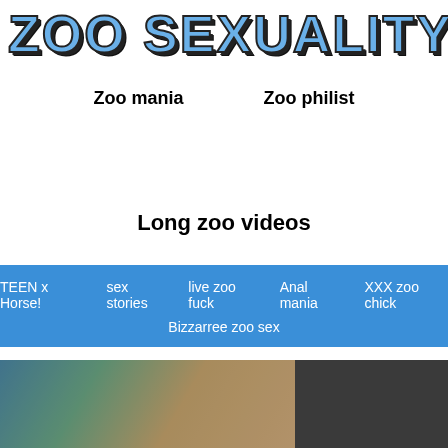ZOO SEXUALITY
Zoo mania
Zoo philist
Long zoo videos
TEEN x Horse! | sex stories | live zoo fuck | Anal mania | XXX zoo chick | Bizzarree zoo sex
[Figure (photo): Adult content photo showing a person with a dog]